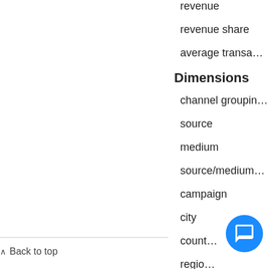revenue
revenue share
average transa…
Dimensions
channel grouping
source
medium
source/medium
campaign
city
country
region
keyword
Back to top